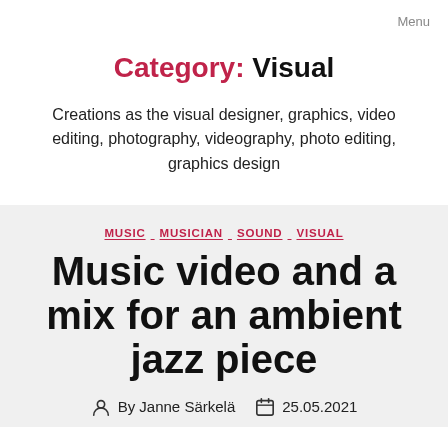Menu
Category: Visual
Creations as the visual designer, graphics, video editing, photography, videography, photo editing, graphics design
MUSIC  MUSICIAN  SOUND  VISUAL
Music video and a mix for an ambient jazz piece
By Janne Särkelä  25.05.2021